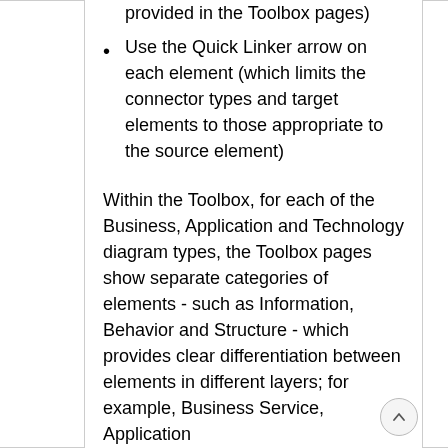provided in the Toolbox pages)
Use the Quick Linker arrow on each element (which limits the connector types and target elements to those appropriate to the source element)
Within the Toolbox, for each of the Business, Application and Technology diagram types, the Toolbox pages show separate categories of elements - such as Information, Behavior and Structure - which provides clear differentiation between elements in different layers; for example, Business Service, Application